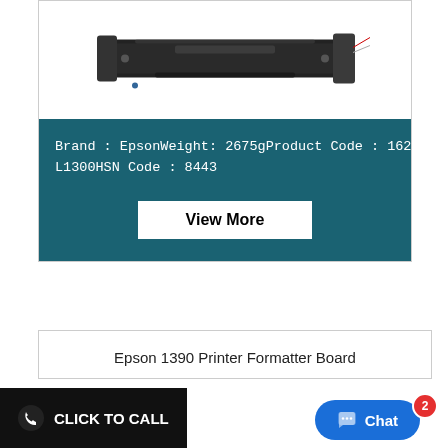[Figure (photo): Product photo of an Epson printer fuser unit / roller assembly, shown from an angle, dark mechanical component]
Brand : EpsonWeight: 2675gProduct Code : 1628470Compatible Model : Epson L1800, Epson L1300HSN Code : 8443
View More
Epson 1390 Printer Formatter Board
CLICK TO CALL
Chat